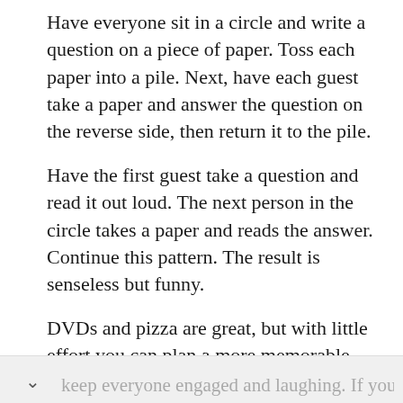Have everyone sit in a circle and write a question on a piece of paper. Toss each paper into a pile. Next, have each guest take a paper and answer the question on the reverse side, then return it to the pile.
Have the first guest take a question and read it out loud. The next person in the circle takes a paper and reads the answer. Continue this pattern. The result is senseless but funny.
DVDs and pizza are great, but with little effort you can plan a more memorable night. Enhance your growing daughter’s party with games that keep everyone engaged and laughing. If your